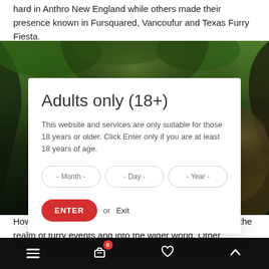hard in Anthro New England while others made their presence known in Fursquared, Vancoufur and Texas Furry Fiesta.
[Figure (photo): Background photo of a lush green canyon/cave with rocks and flowing water, partially obscured by a modal dialog]
Adults only (18+)
This website and services are only suitable for those 18 years or older. Click Enter only if you are at least 18 years of age.
- Month -    - Day -    - Year -
ENTER   or   Exit
How                                                    you will have to venture outside the realm of furry events and into the wider world. Other conventions, be they anime, pop culture
≡   0   ♥   ∧